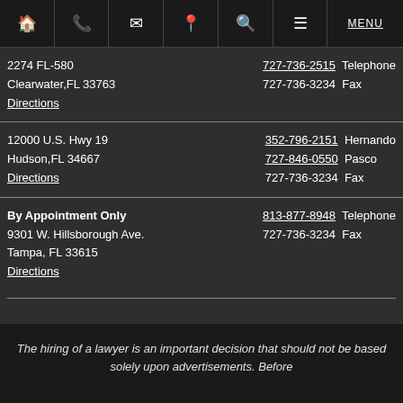Navigation bar with icons: Home, Phone, Mail, Location, Search, Menu, MENU
2274 FL-580
Clearwater,FL 33763
Directions
727-736-2515 Telephone
727-736-3234 Fax
12000 U.S. Hwy 19
Hudson,FL 34667
Directions
352-796-2151 Hernando
727-846-0550 Pasco
727-736-3234 Fax
By Appointment Only
9301 W. Hillsborough Ave.
Tampa, FL 33615
Directions
813-877-8948 Telephone
727-736-3234 Fax
The hiring of a lawyer is an important decision that should not be based solely upon advertisements. Before